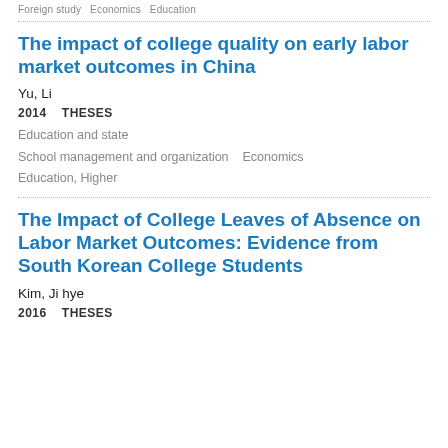Foreign study   Economics   Education
The impact of college quality on early labor market outcomes in China
Yu, Li
2014   THESES
Education and state
School management and organization   Economics
Education, Higher
The Impact of College Leaves of Absence on Labor Market Outcomes: Evidence from South Korean College Students
Kim, Ji hye
2016   THESES